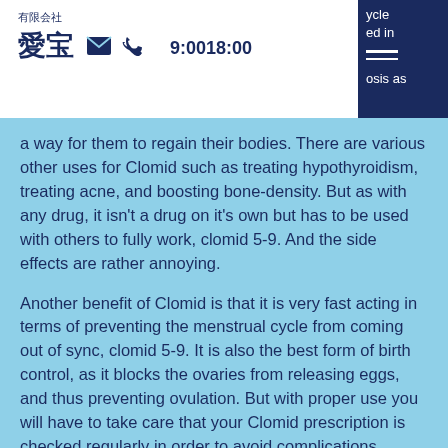有限会社 愛宝  9:0018:00
a way for them to regain their bodies. There are various other uses for Clomid such as treating hypothyroidism, treating acne, and boosting bone-density. But as with any drug, it isn't a drug on it's own but has to be used with others to fully work, clomid 5-9. And the side effects are rather annoying.
Another benefit of Clomid is that it is very fast acting in terms of preventing the menstrual cycle from coming out of sync, clomid 5-9. It is also the best form of birth control, as it blocks the ovaries from releasing eggs, and thus preventing ovulation. But with proper use you will have to take care that your Clomid prescription is checked regularly in order to avoid complications.